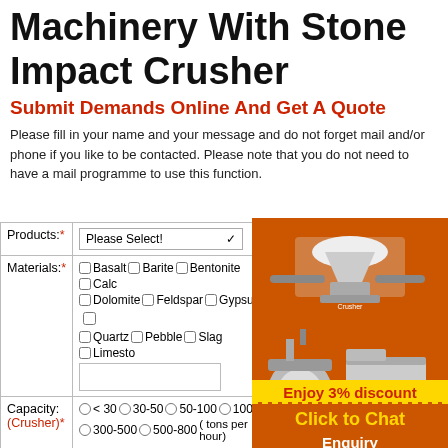Machinery With Stone Impact Crusher
Submit Demands Online And Get A Quote
Please fill in your name and your message and do not forget mail and/or phone if you like to be contacted. Please note that you do not need to have a mail programme to use this function.
| Field | Input |
| --- | --- |
| Products:* | Please Select! (dropdown) |
| Materials:* | Basalt, Barite, Bentonite, Calc, Dolomite, Feldspar, Gypsum, Quartz, Pebble, Slag, Limesto (checkboxes + text input) |
| Capacity: (Crusher)* | < 30, 30-50, 50-100, 100-200, 300-500, 500-800 (tons per hour) (radio buttons) |
| Capacity: (Mill)* | 0.5-5, 5-10, 10-30, 30-50, 5... (tons per hour) (radio buttons) |
[Figure (illustration): Orange sidebar with images of stone crushing machinery (impact crusher and combined crusher/mill machines), a yellow discount bar reading 'Enjoy 3% discount', an orange 'Click to Chat' button with dashed border, and a white 'Enquiry' button.]